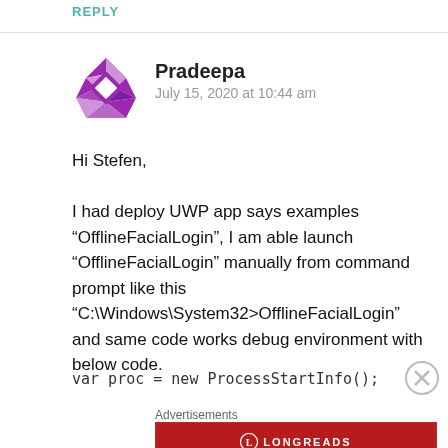REPLY
Pradeepa
July 15, 2020 at 10:44 am
Hi Stefen,

I had deploy UWP app says examples “OfflineFacialLogin”, I am able launch “OfflineFacialLogin” manually from command prompt like this “C:\Windows\System32>OfflineFacialLogin” and same code works debug environment with below code.
var proc = new ProcessStartInfo();
Advertisements
[Figure (logo): Longreads advertisement banner: circular logo with L, text LONGREADS, tagline 'The best stories on the web – ours, and everyone else’s.' on dark red background]